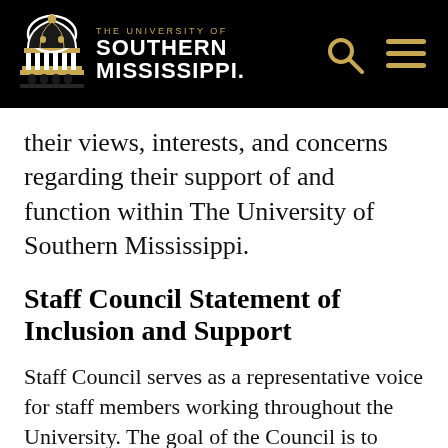THE UNIVERSITY OF SOUTHERN MISSISSIPPI
their views, interests, and concerns regarding their support of and function within The University of Southern Mississippi.
Staff Council Statement of Inclusion and Support
Staff Council serves as a representative voice for staff members working throughout the University. The goal of the Council is to